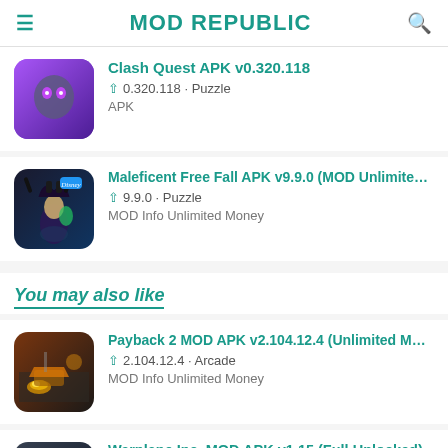MOD REPUBLIC
Clash Quest APK v0.320.118
0.320.118 · Puzzle
APK
Maleficent Free Fall APK v9.9.0 (MOD Unlimited ...
9.9.0 · Puzzle
MOD Info Unlimited Money
You may also like
Payback 2 MOD APK v2.104.12.4 (Unlimited Mon...
2.104.12.4 · Arcade
MOD Info Unlimited Money
Warplane Inc. MOD APK v1.15 (Full Unlocked)
1.15 · Action
MOD Info Full Unlocked